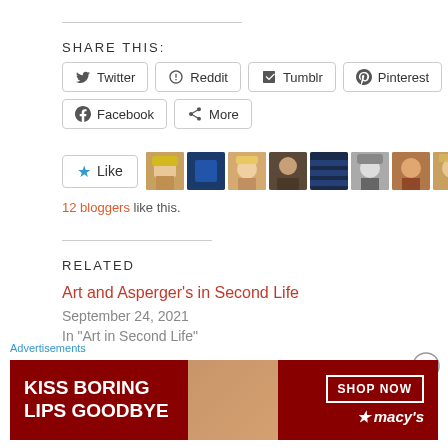SHARE THIS:
Twitter | Reddit | Tumblr | Pinterest | Facebook | More (share buttons)
[Figure (other): Like button with star icon and 10 user avatar thumbnails]
12 bloggers like this.
RELATED
Art and Asperger's in Second Life
September 24, 2021
In "Art in Second Life"
Advertisements
[Figure (infographic): Macy's advertisement banner: KISS BORING LIPS GOODBYE with SHOP NOW button and Macy's logo]